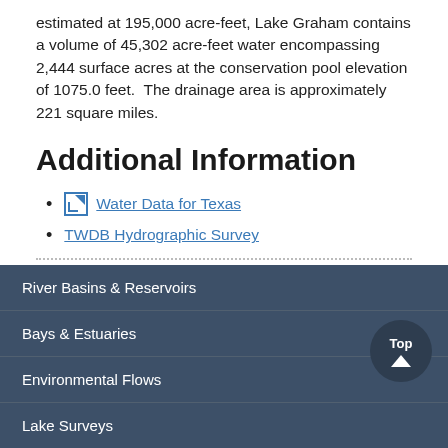estimated at 195,000 acre-feet, Lake Graham contains a volume of 45,302 acre-feet water encompassing 2,444 surface acres at the conservation pool elevation of 1075.0 feet.  The drainage area is approximately 221 square miles.
Additional Information
Water Data for Texas
TWDB Hydrographic Survey
River Basins & Reservoirs | Bays & Estuaries | Environmental Flows | Lake Surveys